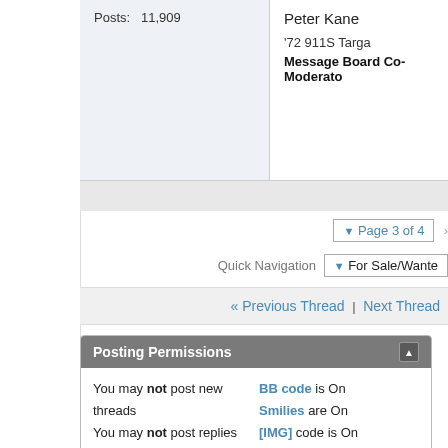Posts: 11,909
Peter Kane
'72 911S Targa
Message Board Co-Moderator
▼ Page 3 of 4
Quick Navigation  ▼ For Sale/Wanted
« Previous Thread | Next Thread »
Posting Permissions
You may not post new threads
You may not post replies
You may not post attachments
You may not edit your
BB code is On
Smilies are On
[IMG] code is On
[VIDEO] code is On
HTML code is Off
Forum Rules